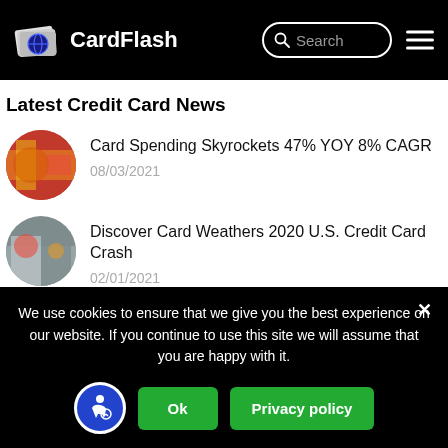CardFlash
Latest Credit Card News
Card Spending Skyrockets 47% YOY 8% CAGR
08/03/2021
Discover Card Weathers 2020 U.S. Credit Card Crash
02/01/2021
Credit Card Forbearance Skews Portfolio Metrics
12/16/2020
We use cookies to ensure that we give you the best experience on our website. If you continue to use this site we will assume that you are happy with it.